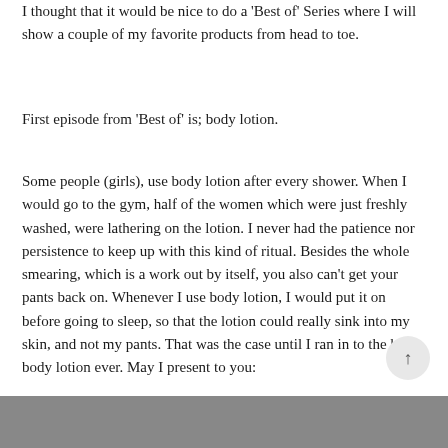I thought that it would be nice to do a 'Best of' Series where I will show a couple of my favorite products from head to toe.
First episode from 'Best of' is; body lotion.
Some people (girls), use body lotion after every shower. When I would go to the gym, half of the women which were just freshly washed, were lathering on the lotion. I never had the patience nor persistence to keep up with this kind of ritual. Besides the whole smearing, which is a work out by itself, you also can't get your pants back on. Whenever I use body lotion, I would put it on before going to sleep, so that the lotion could really sink into my skin, and not my pants. That was the case until I ran in to the best body lotion ever. May I present to you:
[Figure (photo): Bottom portion of a photo, partially visible at the bottom of the page.]